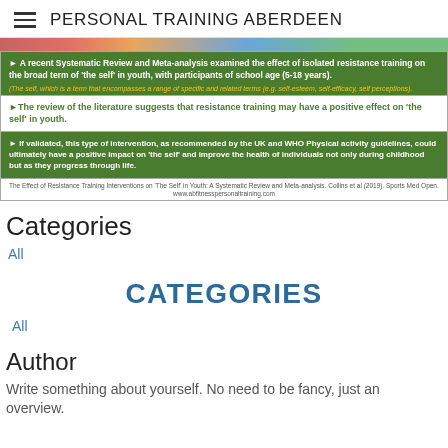PERSONAL TRAINING ABERDEEN
[Figure (illustration): Colorful image strip at the top of the content area]
A recent Systematic Review and Meta-analysis examined the effect of isolated resistance training on the broad term of 'the self' in youth, with participants of school age (5-18 years). (The self, which is a term that encompasses a range of specific and related terms (e.g. self-esteem, self-efficacy, self perceptions).
The review of the literature suggests that resistance training may have a positive effect on 'the self' in youth.
If validated, this type of intervention, as recommended by the UK and WHO Physical activity guidelines, could ultimately have a positive impact on 'the self' and improve the health of individuals not only during childhood but as they progress through life.
The Effect of Resistance Training Interventions on 'The Self' in Youth: A Systematic Review and Meta-analysis. Collins et al (2019). Sports Med Open.
www.abfitnesspersonaltraining.com
Categories
All
CATEGORIES
All
Author
Write something about yourself. No need to be fancy, just an overview.